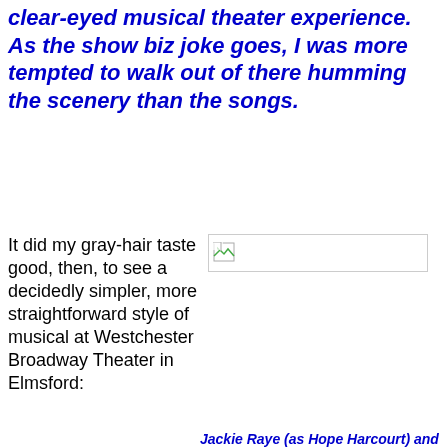clear-eyed musical theater experience. As the show biz joke goes, I was more tempted to walk out of there humming the scenery than the songs.
It did my gray-hair taste good, then, to see a decidedly simpler, more straightforward style of musical at Westchester Broadway Theater in Elmsford:
[Figure (photo): Broken/missing image placeholder with small image icon]
Jackie Raye (as Hope Harcourt) and